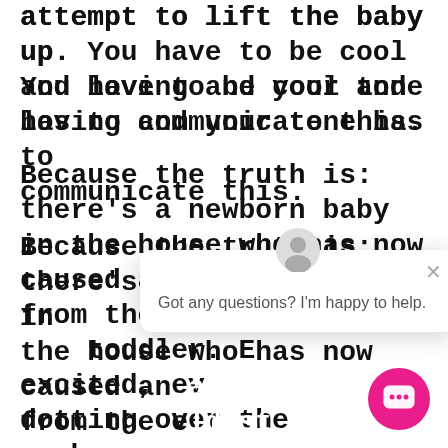attempt to lift the baby up. You have to be cool and loving and your tone has to communicate this.
Because the truth is: there's a newborn baby in the house who has now caused an attention shift from the eldest child, the toddler. Everyone's excited, everyone's dotting over the newborn.
I t...